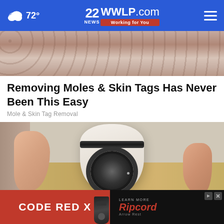72° | 22NEWS WWLP.com Working for You
[Figure (photo): Partial photo of a person wearing a dotted fabric garment, cropped at the top of the page]
Removing Moles & Skin Tags Has Never Been This Easy
Mole & Skin Tag Removal
[Figure (photo): A hand holding a white pen-shaped device resembling a mole/skin tag removal tool, with a dark circular lens at the front, held against a wooden surface background]
[Figure (advertisement): Advertisement banner: Left side red background with 'CODE RED X' text and a product image; right side dark background with Ripcord Arrow Rest branding and 'LEARN MORE' button]